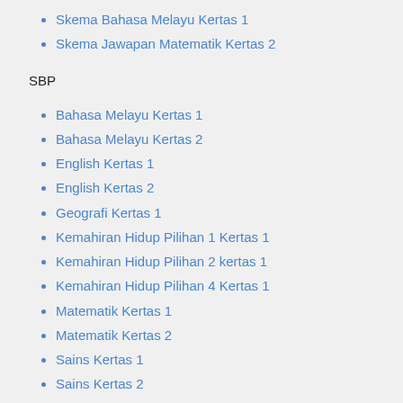Skema Bahasa Melayu Kertas 1
Skema Jawapan Matematik Kertas 2
SBP
Bahasa Melayu Kertas 1
Bahasa Melayu Kertas 2
English Kertas 1
English Kertas 2
Geografi Kertas 1
Kemahiran Hidup Pilihan 1 Kertas 1
Kemahiran Hidup Pilihan 2 kertas 1
Kemahiran Hidup Pilihan 4 Kertas 1
Matematik Kertas 1
Matematik Kertas 2
Sains Kertas 1
Sains Kertas 2
Sejarah Kertas 1
Terengganu
Bahasa Melayu Kertas 1
Bahasa Inggeris Kertas 2 Skema
Matematik Kertas 2
Kemahiran Hidup Bersepadu ERT
Sejarah
Science Kertas 2